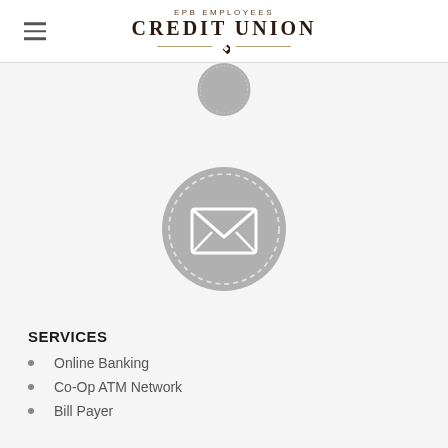EPB EMPLOYEES CREDIT UNION
[Figure (illustration): Partially visible grey circular icon at top of page]
[Figure (illustration): Grey circular badge with dashed border containing an envelope/mail icon]
SERVICES
Online Banking
Co-Op ATM Network
Bill Payer